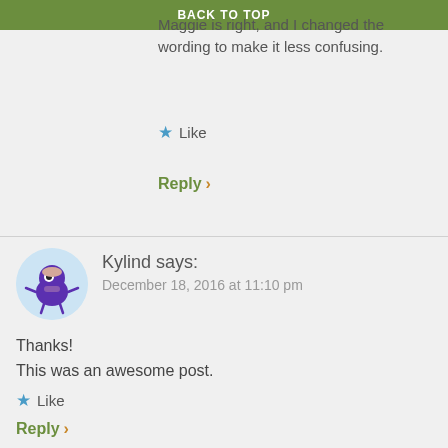BACK TO TOP
Maggie is right, and I changed the wording to make it less confusing.
★ Like
Reply ›
Kylind says:
December 18, 2016 at 11:10 pm
Thanks!
This was an awesome post.
★ Like
Reply ›